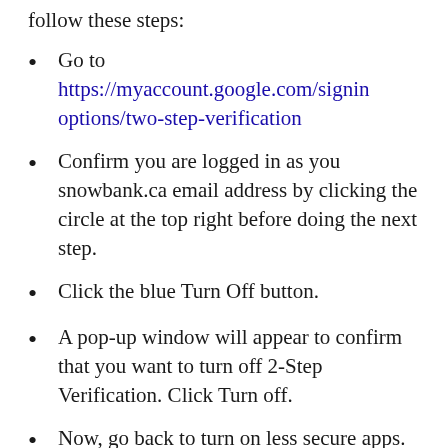follow these steps:
Go to https://myaccount.google.com/signinoptions/two-step-verification
Confirm you are logged in as you snowbank.ca email address by clicking the circle at the top right before doing the next step.
Click the blue Turn Off button.
A pop-up window will appear to confirm that you want to turn off 2-Step Verification. Click Turn off.
Now, go back to turn on less secure apps.